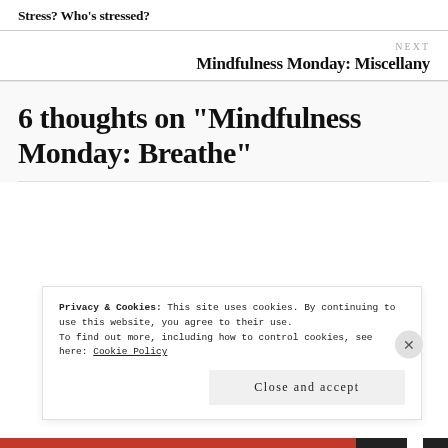Stress? Who's stressed?
NEXT
Mindfulness Monday: Miscellany
6 thoughts on “Mindfulness Monday: Breathe”
Privacy & Cookies: This site uses cookies. By continuing to use this website, you agree to their use.
To find out more, including how to control cookies, see here: Cookie Policy
Close and accept